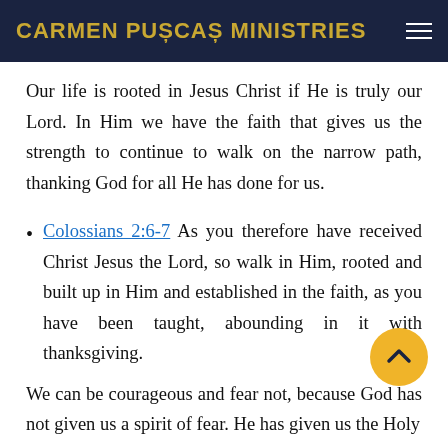CARMEN PUȘCAȘ MINISTRIES
Our life is rooted in Jesus Christ if He is truly our Lord. In Him we have the faith that gives us the strength to continue to walk on the narrow path, thanking God for all He has done for us.
Colossians 2:6-7 As you therefore have received Christ Jesus the Lord, so walk in Him, rooted and built up in Him and established in the faith, as you have been taught, abounding in it with thanksgiving.
We can be courageous and fear not, because God has not given us a spirit of fear. He has given us the Holy